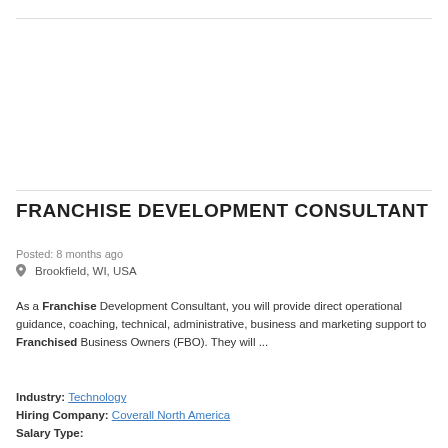FRANCHISE DEVELOPMENT CONSULTANT
Posted: 8 months ago
Brookfield, WI, USA
As a Franchise Development Consultant, you will provide direct operational guidance, coaching, technical, administrative, business and marketing support to Franchised Business Owners (FBO). They will ...
Industry: Technology
Hiring Company: Coverall North America
Salary Type: